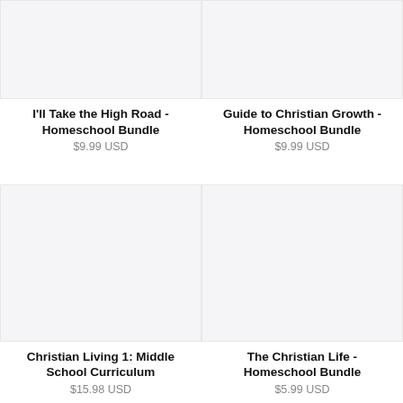[Figure (photo): Product image placeholder (light gray) for I'll Take the High Road - Homeschool Bundle]
I'll Take the High Road - Homeschool Bundle
$9.99 USD
[Figure (photo): Product image placeholder (light gray) for Guide to Christian Growth - Homeschool Bundle]
Guide to Christian Growth - Homeschool Bundle
$9.99 USD
[Figure (photo): Product image placeholder (light gray) for Christian Living 1: Middle School Curriculum]
Christian Living 1: Middle School Curriculum
$15.98 USD
[Figure (photo): Product image placeholder (light gray) for The Christian Life - Homeschool Bundle]
The Christian Life - Homeschool Bundle
$5.99 USD